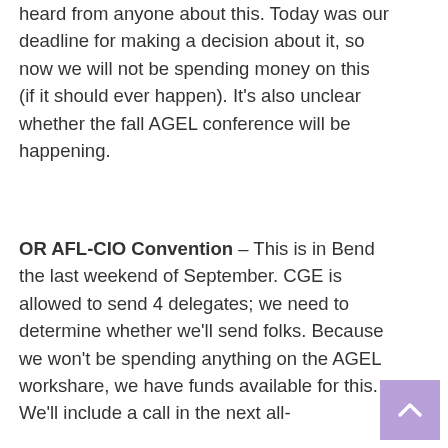heard from anyone about this. Today was our deadline for making a decision about it, so now we will not be spending money on this (if it should ever happen). It's also unclear whether the fall AGEL conference will be happening.
OR AFL-CIO Convention – This is in Bend the last weekend of September. CGE is allowed to send 4 delegates; we need to determine whether we'll send folks. Because we won't be spending anything on the AGEL workshare, we have funds available for this. We'll include a call in the next all-